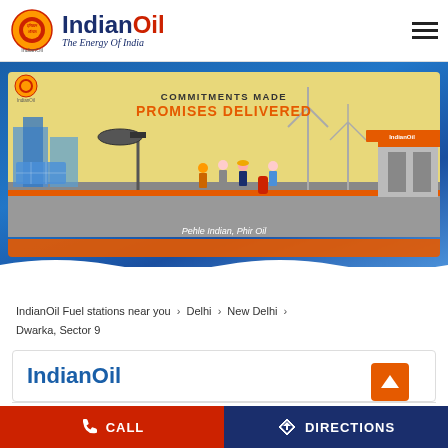IndianOil - The Energy Of India
[Figure (illustration): IndianOil banner illustration with text 'COMMITMENTS MADE PROMISES DELIVERED' and 'Pehle Indian, Phir Oil', showing oil workers, wind turbines, solar panels, gas station and oil pump]
IndianOil Fuel stations near you > Delhi > New Delhi > Dwarka, Sector 9
IndianOil
Hundred Percent